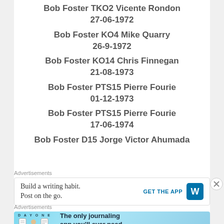Bob Foster TKO2 Vicente Rondon
27-06-1972
Bob Foster KO4 Mike Quarry
26-9-1972
Bob Foster KO14 Chris Finnegan
21-08-1973
Bob Foster PTS15 Pierre Fourie
01-12-1973
Bob Foster PTS15 Pierre Fourie
17-06-1974
Bob Foster D15 Jorge Victor Ahumada
Advertisements
[Figure (screenshot): WordPress ad: Build a writing habit. Post on the go. GET THE APP with WordPress logo]
Advertisements
[Figure (screenshot): Day One app ad: The only journaling app you'll ever need.]